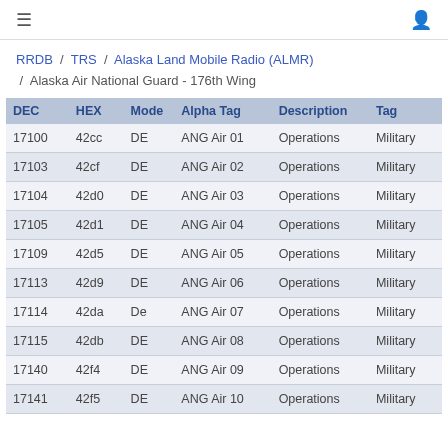≡  🧑
RRDB / TRS / Alaska Land Mobile Radio (ALMR) / Alaska Air National Guard - 176th Wing
| DEC | HEX | Mode | Alpha Tag | Description | Tag |
| --- | --- | --- | --- | --- | --- |
| 17100 | 42cc | DE | ANG Air 01 | Operations | Military |
| 17103 | 42cf | DE | ANG Air 02 | Operations | Military |
| 17104 | 42d0 | DE | ANG Air 03 | Operations | Military |
| 17105 | 42d1 | DE | ANG Air 04 | Operations | Military |
| 17109 | 42d5 | DE | ANG Air 05 | Operations | Military |
| 17113 | 42d9 | DE | ANG Air 06 | Operations | Military |
| 17114 | 42da | De | ANG Air 07 | Operations | Military |
| 17115 | 42db | DE | ANG Air 08 | Operations | Military |
| 17140 | 42f4 | DE | ANG Air 09 | Operations | Military |
| 17141 | 42f5 | DE | ANG Air 10 | Operations | Military |